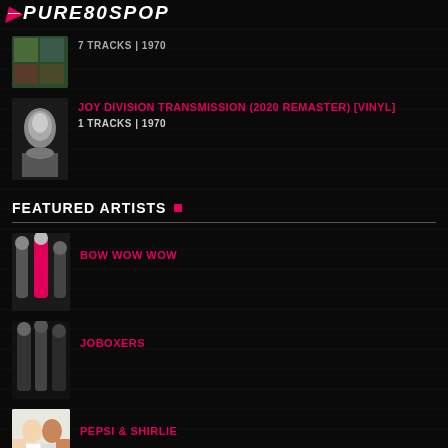PURE80SPOP
7 TRACKS | 1970
JOY DIVISION TRANSMISSION (2020 REMASTER) [VINYL] — 1 TRACKS | 1970
FEATURED ARTISTS
BOW WOW WOW
JOBOXERS
PEPSI & SHIRLIE
THE BELLE STARS